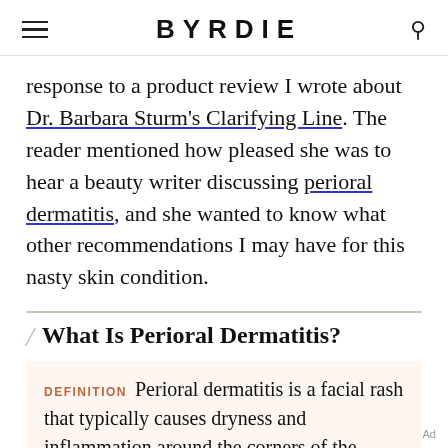BYRDIE
response to a product review I wrote about Dr. Barbara Sturm's Clarifying Line. The reader mentioned how pleased she was to hear a beauty writer discussing perioral dermatitis, and she wanted to know what other recommendations I may have for this nasty skin condition.
What Is Perioral Dermatitis?
DEFINITION  Perioral dermatitis is a facial rash that typically causes dryness and inflammation around the corners of the